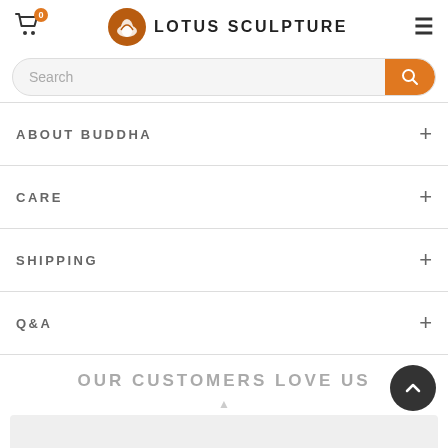Lotus Sculpture — 0 items in cart
Search
ABOUT BUDDHA +
CARE +
SHIPPING +
Q&A +
OUR CUSTOMERS LOVE US